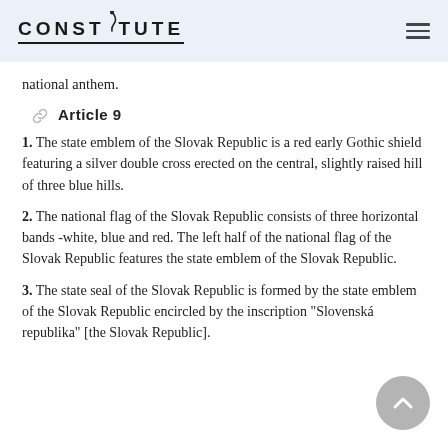CONSTITUTE
national anthem.
Article 9
1. The state emblem of the Slovak Republic is a red early Gothic shield featuring a silver double cross erected on the central, slightly raised hill of three blue hills.
2. The national flag of the Slovak Republic consists of three horizontal bands -white, blue and red. The left half of the national flag of the Slovak Republic features the state emblem of the Slovak Republic.
3. The state seal of the Slovak Republic is formed by the state emblem of the Slovak Republic encircled by the inscription "Slovenská republika" [the Slovak Republic].